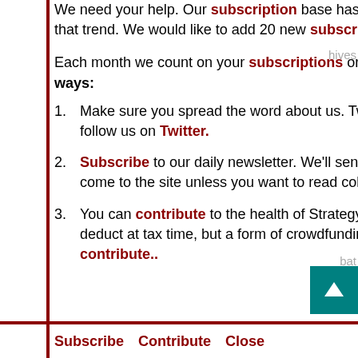We need your help. Our subscription base has slowly been dwindling. We need your help in reversing that trend. We would like to add 20 new subscribers this month.
Each month we count on your subscriptions or contributions. You can support us in the following ways:
Make sure you spread the word about us. Two ways to do that are to like us on Facebook and follow us on Twitter.
Subscribe to our daily newsletter. We'll send the news to your email box, and you don't have to come to the site unless you want to read columns or see photos.
You can contribute to the health of StrategyPage. A contribution is not a donation that you can deduct at tax time, but a form of crowdfunding. We store none of your information when you contribute..
Subscribe   Contribute   Close